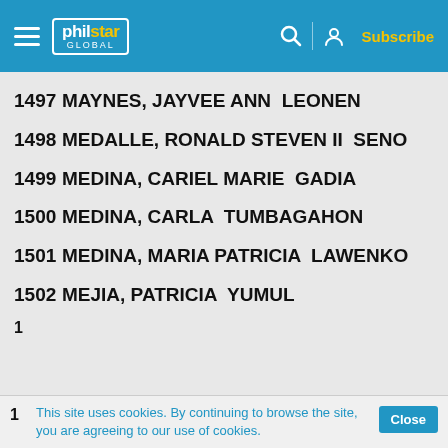philstar GLOBAL — Subscribe
1497  MAYNES, JAYVEE ANN  LEONEN
1498  MEDALLE, RONALD STEVEN II  SENO
1499  MEDINA, CARIEL MARIE  GADIA
1500  MEDINA, CARLA  TUMBAGAHON
1501  MEDINA, MARIA PATRICIA  LAWENKO
1502  MEJIA, PATRICIA  YUMUL
1  This site uses cookies. By continuing to browse the site, you are agreeing to our use of cookies.  Close
1